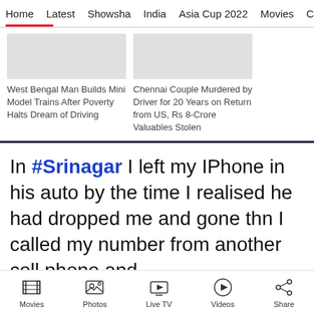Home | Latest | Showsha | India | Asia Cup 2022 | Movies | C…
[Figure (photo): Gray placeholder image for news card about West Bengal Man]
West Bengal Man Builds Mini Model Trains After Poverty Halts Dream of Driving
[Figure (photo): Gray placeholder image for news card about Chennai Couple]
Chennai Couple Murdered by Driver for 20 Years on Return from US, Rs 8-Crore Valuables Stolen
In #Srinagar  I left my IPhone in his auto by the time I realised he had dropped me and gone thn I called my number from another cell phone and I got Dialing Ringing...
Movies | Photos | Live TV | Videos | Share